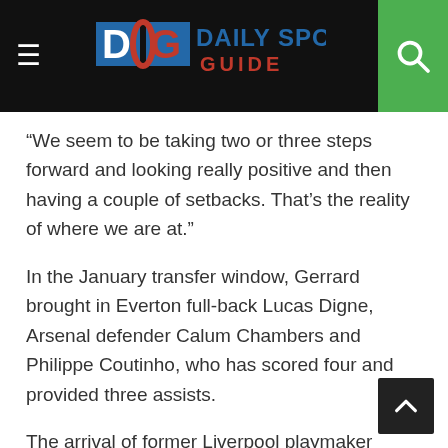Daily Sports Guide
“We seem to be taking two or three steps forward and looking really positive and then having a couple of setbacks. That’s the reality of where we are at.”
In the January transfer window, Gerrard brought in Everton full-back Lucas Digne, Arsenal defender Calum Chambers and Philippe Coutinho, who has scored four and provided three assists.
The arrival of former Liverpool playmaker Coutinho on loan from Barcelona included the option to buy the 29-year-old for £33m and Gerrard made it clear after Saturday’s impressive 3-1 win at Burnley that he wanted to sign the player permanently.
There are noises Villa will be busy in the transfer window